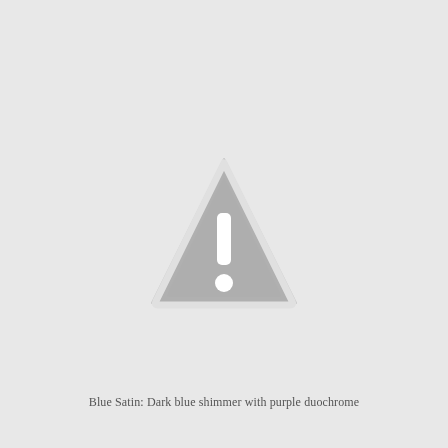[Figure (other): A grey warning triangle (caution/alert icon) with a white exclamation mark, centered on a light grey background.]
Blue Satin: Dark blue shimmer with purple duochrome